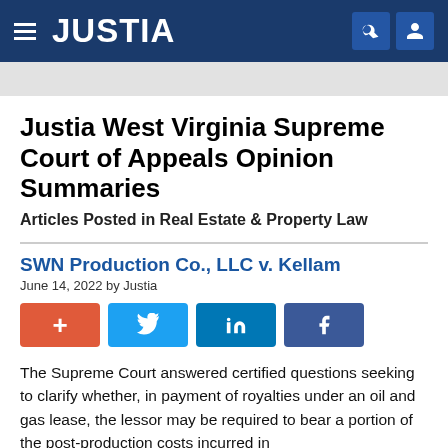JUSTIA
Justia West Virginia Supreme Court of Appeals Opinion Summaries
Articles Posted in Real Estate & Property Law
SWN Production Co., LLC v. Kellam
June 14, 2022 by Justia
The Supreme Court answered certified questions seeking to clarify whether, in payment of royalties under an oil and gas lease, the lessor may be required to bear a portion of the post-production costs incurred in